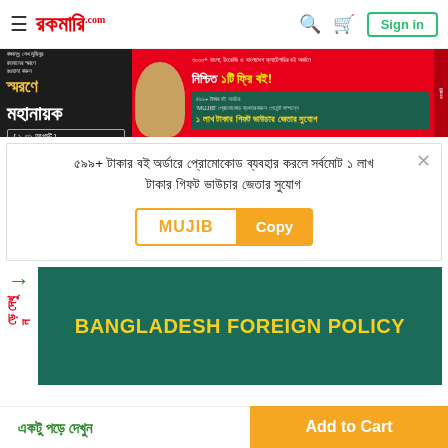রকমারি.com — Sign in
[Figure (screenshot): Rokomari.com website banner advertising 'স্মরণে মহানায়ক' (Remembering the Great Leader) event from 1-31 August, with an offer for a free book on orders above certain amount and a 1 lakh taka gift voucher using promo code MUJIB]
৫৯৯+ টাকার বই অর্ডারে প্রোমোকোড ব্যবহার করলে সর্বমোট ১ লাখ টাকার গিফট ভাউচার জেতার সুযোগ
MUJIB   Copy
[Figure (screenshot): Book cover for 'Bangladesh Foreign Policy' shown on Rokomari.com product page, with green background and yellow title text]
একটু পড়ে দেখুন
Add to Cart